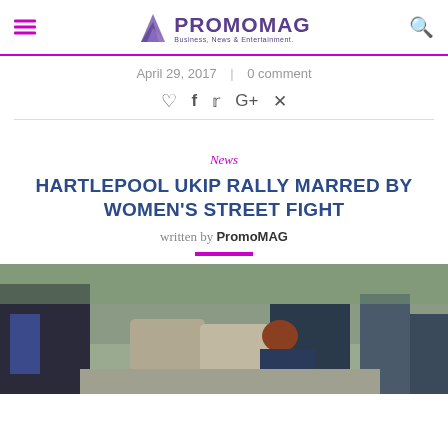PROMOMAG — Business, News & Entertainment
April 29, 2017  |  0 comment
[Figure (other): Social sharing icons: heart, Facebook, Twitter, Google+, Pinterest]
News
HARTLEPOOL UKIP RALLY MARRED BY WOMEN'S STREET FIGHT
written by PromoMAG
[Figure (photo): Outdoor photograph showing people crouching or struggling on a street, likely a scene from a street altercation at a UKIP rally in Hartlepool.]